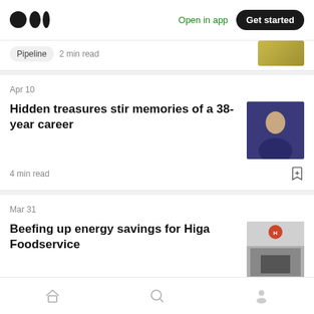Medium logo | Open in app | Get started
Pipeline  2 min read
Apr 10
Hidden treasures stir memories of a 38-year career
4 min read
Mar 31
Beefing up energy savings for Higa Foodservice
3 min read
Home | Search | Profile